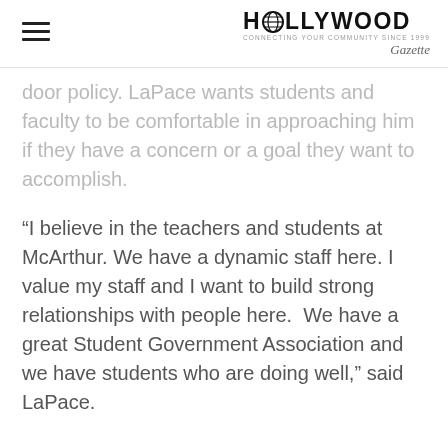HOLLYWOOD Gazette
door policy. LaPace wants students and faculty to be comfortable in approaching him if they have a concern or a goal they want to accomplish.
“I believe in the teachers and students at McArthur. We have a dynamic staff here. I value my staff and I want to build strong relationships with people here.  We have a great Student Government Association and we have students who are doing well,” said LaPace.